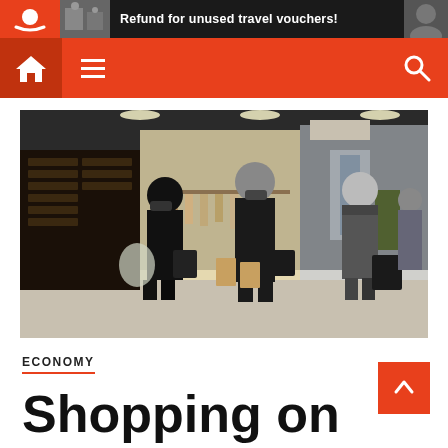Refund for unused travel vouchers!
[Figure (screenshot): Navigation bar with home icon, hamburger menu, and search icon on orange background]
[Figure (photo): People shopping in a mall, seen from behind, carrying shopping bags, walking past illuminated clothing stores]
ECONOMY
Shopping on